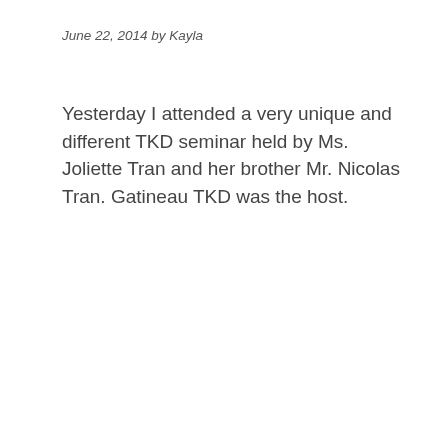June 22, 2014 by Kayla
Yesterday I attended a very unique and different TKD seminar held by Ms. Joliette Tran and her brother Mr. Nicolas Tran. Gatineau TKD was the host.